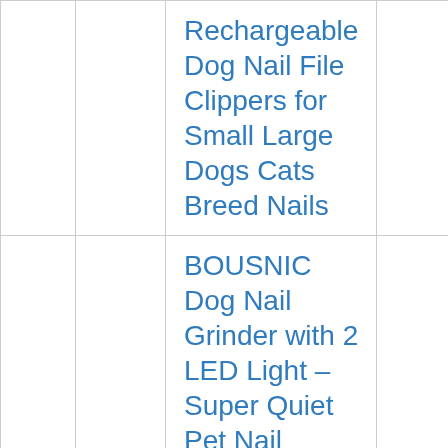Rechargeable Dog Nail File Clippers for Small Large Dogs Cats Breed Nails
BOUSNIC Dog Nail Grinder with 2 LED Light – Super Quiet Pet Nail Grinder